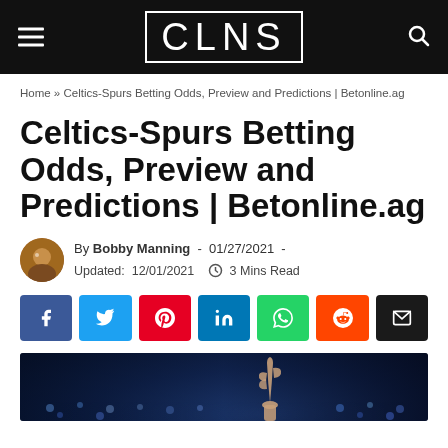CLNS
Home » Celtics-Spurs Betting Odds, Preview and Predictions | Betonline.ag
Celtics-Spurs Betting Odds, Preview and Predictions | Betonline.ag
By Bobby Manning - 01/27/2021 - Updated: 12/01/2021  3 Mins Read
[Figure (other): Social share buttons: Facebook, Twitter, Pinterest, LinkedIn, WhatsApp, Reddit, Email]
[Figure (photo): Basketball crowd photo with player raising hand, dark arena background]